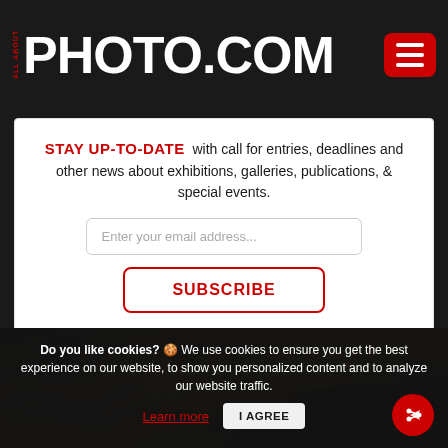ALL ABOUT PHOTO.COM
STAY UP-TO-DATE with call for entries, deadlines and other news about exhibitions, galleries, publications, & special events.
Enter your email address...
SUBSCRIBE
[Figure (photo): Aerial photograph of river delta or landscape with blue-grey channels and orange/gold sediment patterns]
Do you like cookies? 🍪 We use cookies to ensure you get the best experience on our website, to show you personalized content and to analyze our website traffic.
Learn more
I AGREE